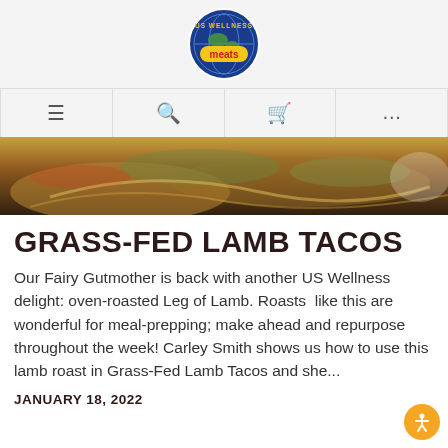[Figure (logo): US Wellness Meats circular logo with globe imagery]
[Figure (photo): Navigation bar with hamburger menu, search, cart, and more icons]
[Figure (photo): Food photo strip showing tacos/lamb dish]
GRASS-FED LAMB TACOS
Our Fairy Gutmother is back with another US Wellness delight: oven-roasted Leg of Lamb. Roasts  like this are wonderful for meal-prepping; make ahead and repurpose throughout the week! Carley Smith shows us how to use this lamb roast in Grass-Fed Lamb Tacos and she...
JANUARY 18, 2022